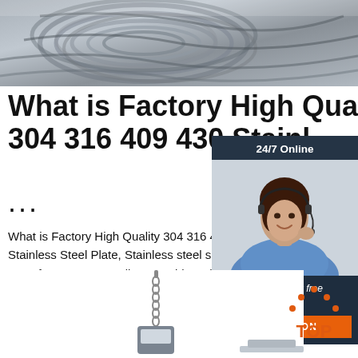[Figure (photo): Steel wire coils photo at top of page]
What is Factory High Quality 304 316 409 430 Stainless Steel Plate ...
What is Factory High Quality 304 316 409 430 Stainless Steel Plate, Stainless steel sheet manufacturers & suppliers on Video Channel of Made-in-China.com.
[Figure (screenshot): 24/7 Online chat widget with woman wearing headset, 'Click here for free chat!' text, and orange QUOTATION button]
[Figure (illustration): Green 'Get Price' button]
[Figure (photo): Partial photo of a hanging scale / weighing equipment at bottom of page]
[Figure (illustration): Orange TOP button with dots forming triangle at bottom right]